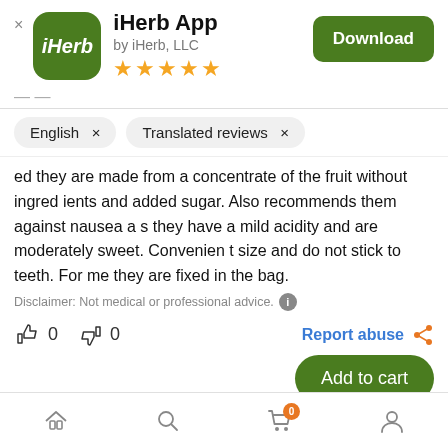[Figure (screenshot): iHerb app icon: green rounded square with white italic iHerb text]
iHerb App
by iHerb, LLC
[Figure (other): Five gold star rating]
Download
English ×
Translated reviews ×
ed they are made from a concentrate of the fruit without ingredients and added sugar. Also recommends them against nausea as they have a mild acidity and are moderately sweet. Convenient size and do not stick to teeth. For me they are fixed in the bag.
Disclaimer: Not medical or professional advice.
0
0
Report abuse
Add to cart
Home  Search  Cart (0)  Profile